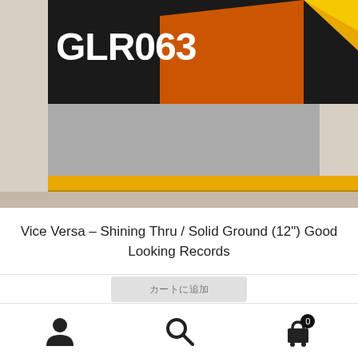[Figure (photo): Photo of a vinyl record GLR063 (Good Looking Records) with its sleeve. The sleeve shows 'GLR063' in white text on a dark background with geometric shapes in orange and yellow. A black vinyl record is partially visible to the right, showing the label side.]
Vice Versa – Shining Thru / Solid Ground (12") Good Looking Records
¥0